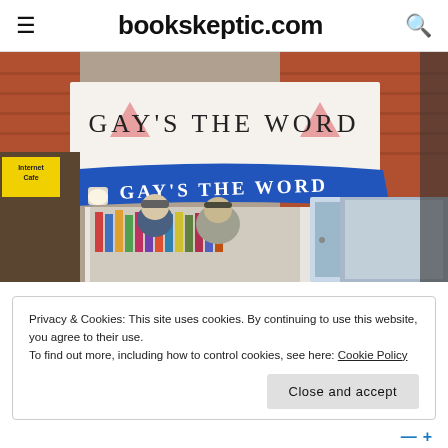bookskeptic.com
[Figure (photo): Exterior of Gay's The Word bookshop with blue awning and two people standing outside looking in the window. Brick building with white fascia sign reading GAY'S THE WORD with pink triangle decorations.]
Privacy & Cookies: This site uses cookies. By continuing to use this website, you agree to their use.
To find out more, including how to control cookies, see here: Cookie Policy
Close and accept